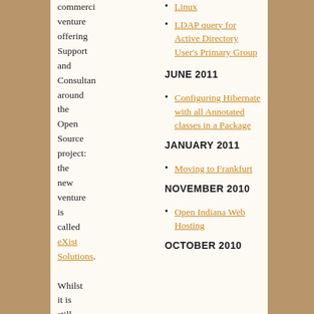commerci venture offering Support and Consultan around the Open Source project: the new venture is called eXist Solutions. Whilst it is still early
Linux
LDAP query for Active Directory User's Primary Group
JUNE 2011
Configuring Hibernate with all Annotated classes in a Package
JANUARY 2011
Moving to Frankfurt
NOVEMBER 2010
Open Indiana Web Hosting
OCTOBER 2010